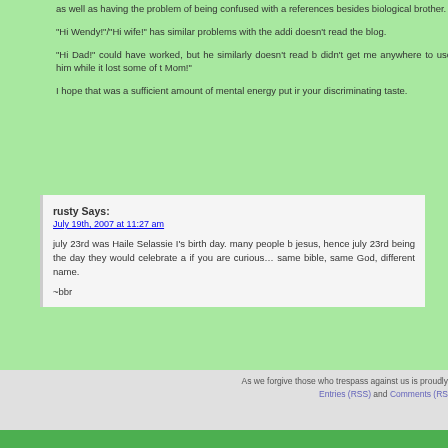as well as having the problem of being confused with a references besides biological brother.
“Hi Wendy!”/“Hi wife!” has similar problems with the addi doesn’t read the blog.
“Hi Dad!” could have worked, but he similarly doesn’t read b didn’t get me anywhere to use him while it lost some of t Mom!”
I hope that was a sufficient amount of mental energy put ir your discriminating taste.
rusty Says:
July 19th, 2007 at 11:27 am

july 23rd was Haile Selassie I’s birth day. many people b jesus, hence july 23rd being the day they would celebrate a if you are curious… same bible, same God, different name.

~bbr
As we forgive those who trespass against us is proudly Entries (RSS) and Comments (RS